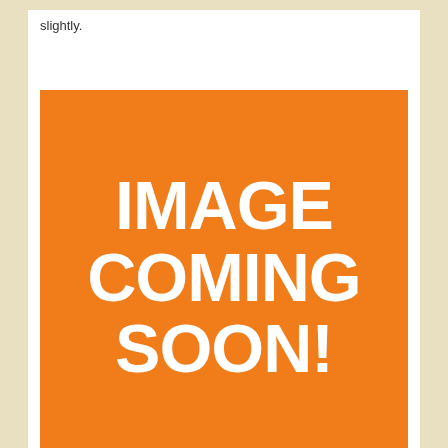slightly.
[Figure (illustration): Orange placeholder image with white bold text reading IMAGE COMING SOON!]